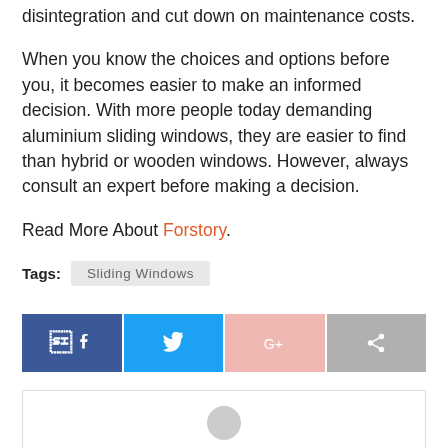wooden part protected against rain or natural disintegration and cut down on maintenance costs.
When you know the choices and options before you, it becomes easier to make an informed decision. With more people today demanding aluminium sliding windows, they are easier to find than hybrid or wooden windows. However, always consult an expert before making a decision.
Read More About Forstory.
Tags: Sliding Windows
[Figure (other): Social share buttons: Facebook, Twitter, Google+, Share]
[Figure (other): Author avatar placeholder with grey person/user icon]